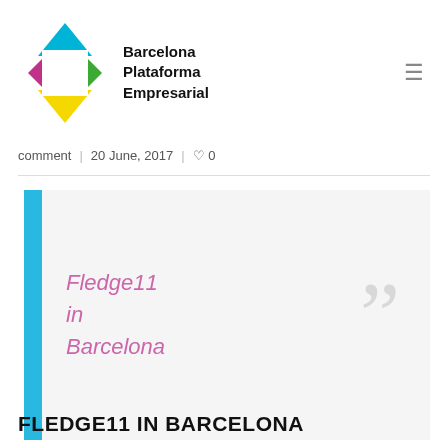[Figure (logo): Barcelona Plataforma Empresarial logo with colorful diamond shape and bold text]
comment | 20 June, 2017 | ♡ 0
[Figure (other): Blockquote box with blue left bar, italic pink text 'Fledge11 in Barcelona' and large grey decorative quotation mark]
FLEDGE11 IN BARCELONA